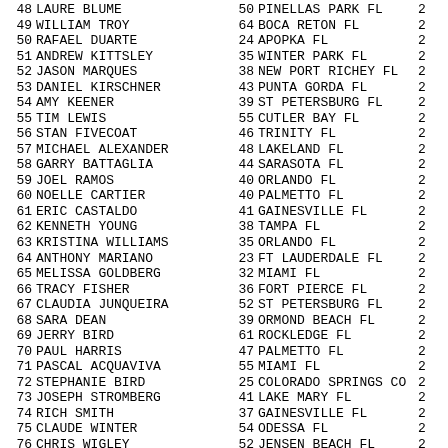48 LAURE BLUME 50 PINELLAS PARK FL 2
49 WILLIAM TROY 64 BOCA RETON FL 2
50 RAFAEL DUARTE 24 APOPKA FL 2
51 ANDREW KITTSLEY 35 WINTER PARK FL 2
52 JASON MARQUES 38 NEW PORT RICHEY FL 2
53 DANIEL KIRSCHNER 43 PUNTA GORDA FL 2
54 AMY KEENER 39 ST PETERSBURG FL 2
55 TIM LEWIS 55 CUTLER BAY FL 2
56 STAN FIVECOAT 46 TRINITY FL 2
57 MICHAEL ALEXANDER 48 LAKELAND FL 2
58 GARRY BATTAGLIA 44 SARASOTA FL 2
59 JOEL RAMOS 40 ORLANDO FL 2
60 NOELLE CARTIER 40 PALMETTO FL 2
61 ERIC CASTALDO 41 GAINESVILLE FL 2
62 KENNETH YOUNG 38 TAMPA FL 2
63 KRISTINA WILLIAMS 35 ORLANDO FL 2
64 ANTHONY MARIANO 23 FT LAUDERDALE FL 2
65 MELISSA GOLDBERG 32 MIAMI FL 2
66 TRACY FISHER 36 FORT PIERCE FL 2
67 CLAUDIA JUNQUEIRA 52 ST PETERSBURG FL 2
68 SARA DEAN 39 ORMOND BEACH FL 2
69 JERRY BIRD 61 ROCKLEDGE FL 2
70 PAUL HARRIS 47 PALMETTO FL 2
71 PASCAL ACQUAVIVA 55 MIAMI FL 2
72 STEPHANIE BIRD 25 COLORADO SPRINGS CO 2
73 JOSEPH STROMBERG 41 LAKE MARY FL 2
74 RICH SMITH 37 GAINESVILLE FL 2
75 CLAUDE WINTER 54 ODESSA FL 2
76 CHRIS WIGLEY 52 JENSEN BEACH FL 2
77 LINDA BAYNE 53 SARASOTA FL 2